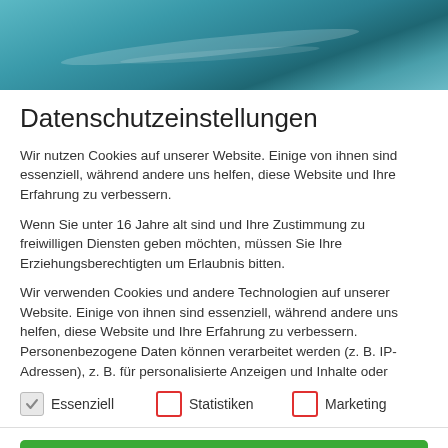[Figure (photo): Teal/blue water surface hero image with light reflections]
Datenschutzeinstellungen
Wir nutzen Cookies auf unserer Website. Einige von ihnen sind essenziell, während andere uns helfen, diese Website und Ihre Erfahrung zu verbessern.
Wenn Sie unter 16 Jahre alt sind und Ihre Zustimmung zu freiwilligen Diensten geben möchten, müssen Sie Ihre Erziehungsberechtigten um Erlaubnis bitten.
Wir verwenden Cookies und andere Technologien auf unserer Website. Einige von ihnen sind essenziell, während andere uns helfen, diese Website und Ihre Erfahrung zu verbessern. Personenbezogene Daten können verarbeitet werden (z. B. IP-Adressen), z. B. für personalisierte Anzeigen und Inhalte oder
Essenziell (checked)
Statistiken (unchecked)
Marketing (unchecked)
Alle akzeptieren